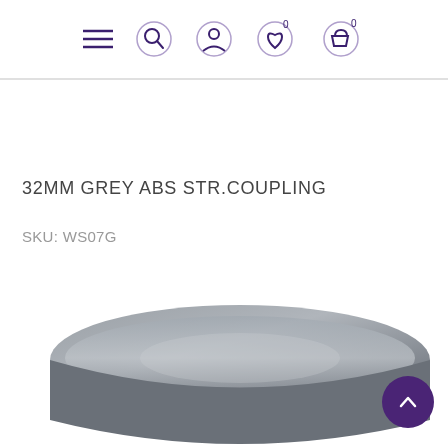Navigation icons: menu, search, account, wishlist (0), cart (0)
32MM GREY ABS STR.COUPLING
SKU: WS07G
[Figure (photo): Partial view of a grey ABS straight coupling pipe fitting, shown from above at an angle, grey plastic material]